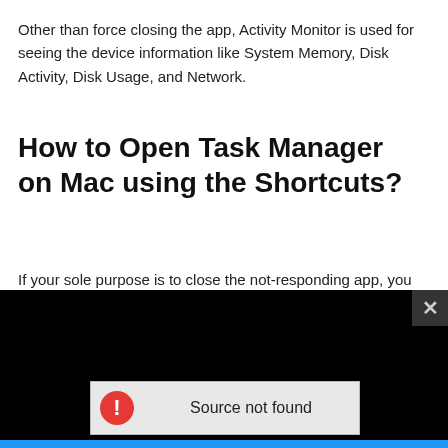Other than force closing the app, Activity Monitor is used for seeing the device information like System Memory, Disk Activity, Disk Usage, and Network.
How to Open Task Manager on Mac using the Shortcuts?
If your sole purpose is to close the not-responding app, you
[Figure (screenshot): Embedded video player showing a black screen with a 'Source not found' error dialog containing a red warning icon and the text 'Source not found'. A close (X) button is visible in the top-right corner of the video player. A blue progress bar appears at the bottom.]